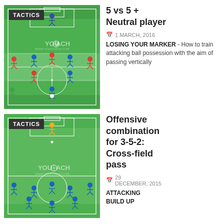[Figure (illustration): TACTICS - Soccer/football training pitch diagram showing 5 vs 5 + Neutral player tactical drill with player positions marked]
5 vs 5 + Neutral player
1 MARCH, 2016
LOSING YOUR MARKER - How to train attacking ball possession with the aim of passing vertically
[Figure (illustration): TACTICS - Soccer/football training pitch diagram showing Offensive combination for 3-5-2 Cross-field pass drill with player positions marked]
Offensive combination for 3-5-2: Cross-field pass
29 DECEMBER, 2015
ATTACKING BUILD UP PATTERNS - Offensive play proposal for 3-5-2 with a cross-field pass
PATTERNS - Offensive play proposal for 3-5-2 with a cross-field pass